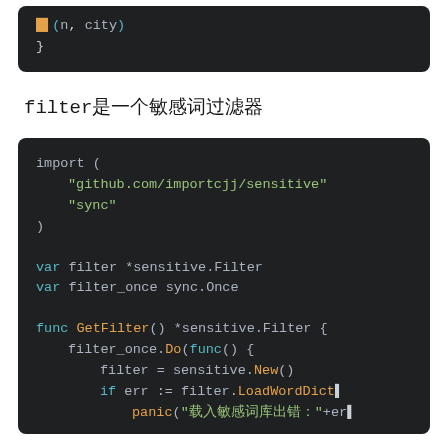[Figure (screenshot): Top code block snippet showing closing brace of a function in dark-themed code editor]
filter是一个敏感词过滤器
[Figure (screenshot): Dark-themed code block showing Go code with import statement for github.com/importcjj/sensitive and sync, variable declarations, and GetFilter function definition]